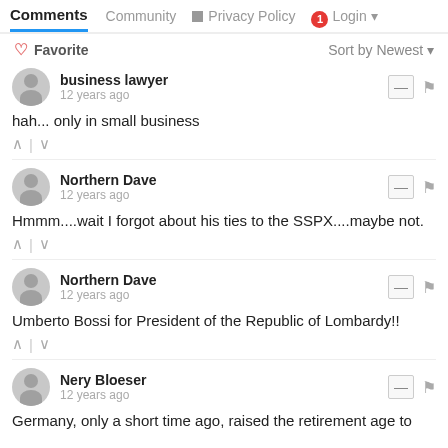Comments  Community  Privacy Policy  Login
Favorite  Sort by Newest
business lawyer
12 years ago
hah... only in small business
Northern Dave
12 years ago
Hmmm....wait I forgot about his ties to the SSPX....maybe not.
Northern Dave
12 years ago
Umberto Bossi for President of the Republic of Lombardy!!
Nery Bloeser
12 years ago
Germany, only a short time ago, raised the retirement age to